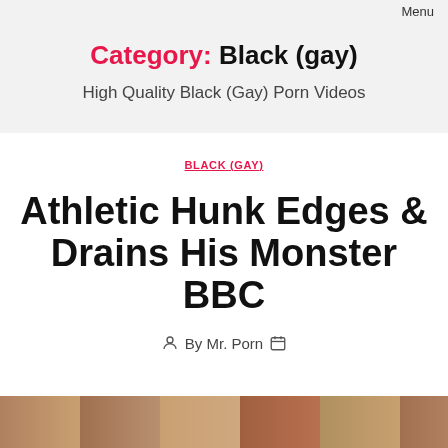Menu
Category: Black (gay)
High Quality Black (Gay) Porn Videos
BLACK (GAY)
Athletic Hunk Edges & Drains His Monster BBC
By Mr. Porn
[Figure (photo): Thumbnail image strip at bottom of page]